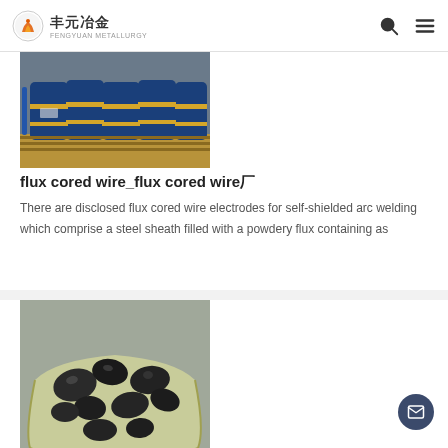丰元冶金
[Figure (photo): Blue metal barrels/drums stacked on pallets in a warehouse]
flux cored wire_flux cored wire厂
There are disclosed flux cored wire electrodes for self-shielded arc welding which comprise a steel sheath filled with a powdery flux containing as
[Figure (photo): A bag filled with dark metallic lumps/chunks of material on the ground]